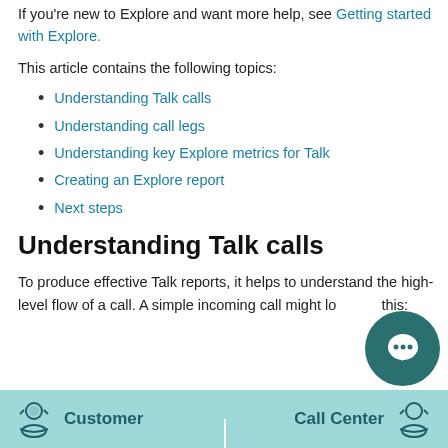If you're new to Explore and want more help, see Getting started with Explore.
This article contains the following topics:
Understanding Talk calls
Understanding call legs
Understanding key Explore metrics for Talk
Creating an Explore report
Next steps
Understanding Talk calls
To produce effective Talk reports, it helps to understand the high-level flow of a call. A simple incoming call might look like this:
[Figure (illustration): Diagram showing Customer and Call Center icons in a teal/cyan banner at the bottom of the page]